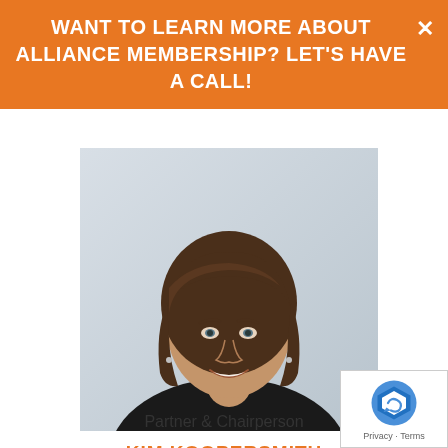WANT TO LEARN MORE ABOUT ALLIANCE MEMBERSHIP? LET'S HAVE A CALL!
[Figure (photo): Professional headshot of Kim Koopersmith, a woman with brown chin-length hair, wearing a black sleeveless top, smiling, against a light gray/blue background.]
KIM KOOPERSMITH
Partner & Chairperson